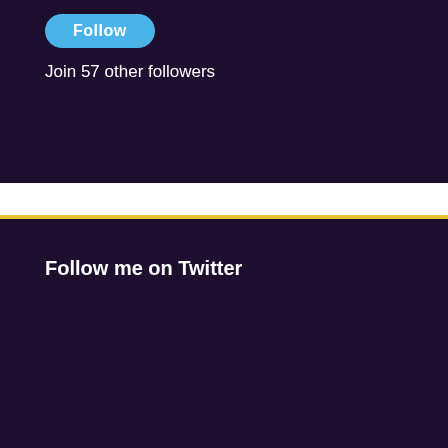[Figure (screenshot): Dark purple widget box with a blue rounded Follow button at the top]
Join 57 other followers
Follow me on Twitter